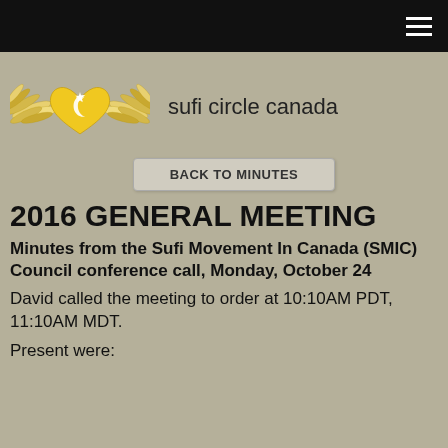[Figure (logo): Sufi Circle Canada logo: a winged golden heart with a star and crescent, with text 'sufi circle canada']
BACK TO MINUTES
2016 GENERAL MEETING
Minutes from the Sufi Movement In Canada (SMIC) Council conference call, Monday, October 24
David called the meeting to order at 10:10AM PDT, 11:10AM MDT.
Present were: